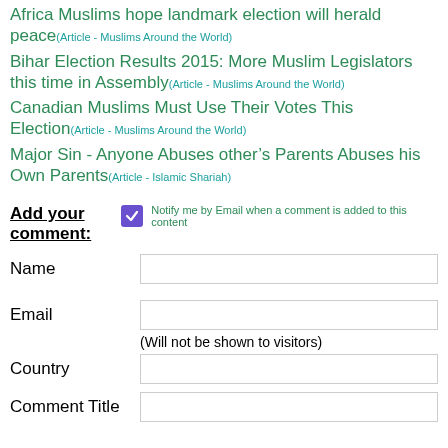Africa Muslims hope landmark election will herald peace(Article - Muslims Around the World)
Bihar Election Results 2015: More Muslim Legislators this time in Assembly(Article - Muslims Around the World)
Canadian Muslims Must Use Their Votes This Election(Article - Muslims Around the World)
Major Sin - Anyone Abuses other’s Parents Abuses his Own Parents(Article - Islamic Shariah)
Add your comment:
Notify me by Email when a comment is added to this content
Name
Email
(Will not be shown to visitors)
Country
Comment Title